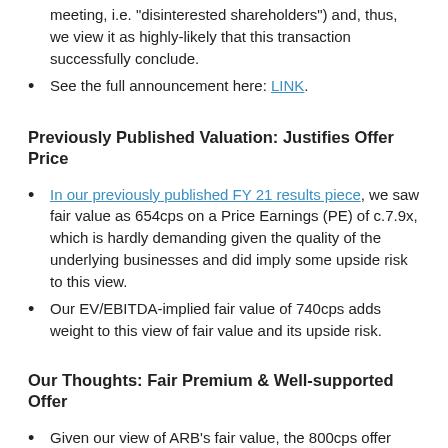meeting, i.e. “disinterested shareholders”) and, thus, we view it as highly-likely that this transaction successfully conclude.
See the full announcement here: LINK.
Previously Published Valuation: Justifies Offer Price
In our previously published FY 21 results piece, we saw fair value as 654cps on a Price Earnings (PE) of c.7.9x, which is hardly demanding given the quality of the underlying businesses and did imply some upside risk to this view.
Our EV/EBITDA-implied fair value of 740cps adds weight to this view of fair value and its upside risk.
Our Thoughts: Fair Premium & Well-supported Offer
Given our view of ARB’s fair value, the 800cps offer price for minorities comes in at a c.22% premium to this